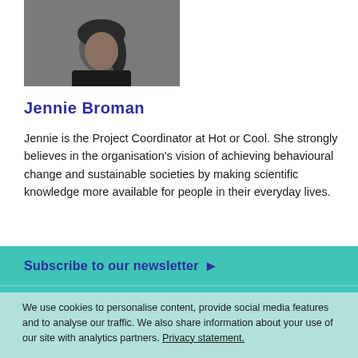[Figure (photo): Headshot photo of Jennie Broman, a woman with dark hair wearing a black top, against a grey background.]
Jennie Broman
Jennie is the Project Coordinator at Hot or Cool. She strongly believes in the organisation's vision of achieving behavioural change and sustainable societies by making scientific knowledge more available for people in their everyday lives.
Subscribe to our newsletter ▶
Follow our stories [Facebook] [Twitter] [YouTube] [Instagram]
Get in touch with us ▶
We use cookies to personalise content, provide social media features and to analyse our traffic. We also share information about your use of our site with analytics partners. Privacy statement.